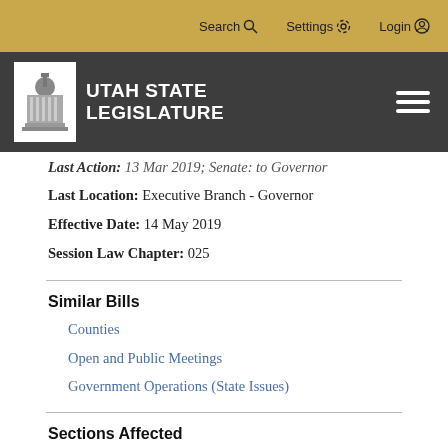Search  Settings  Login
[Figure (logo): Utah State Legislature logo with capitol building icon and white text on dark gray background]
Last Action: 13 Mar 2019; Senate: to Governor
Last Location: Executive Branch - Governor
Effective Date: 14 May 2019
Session Law Chapter: 025
Similar Bills
Counties
Open and Public Meetings
Government Operations (State Issues)
Sections Affected